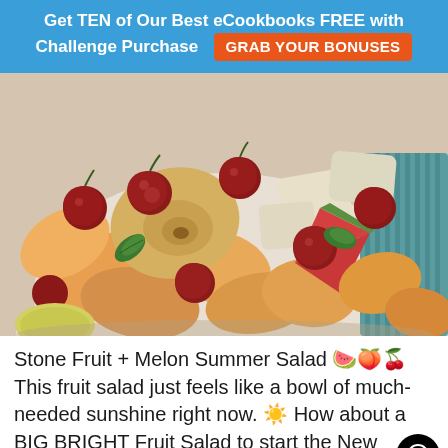Get TEN of Our Best eCookbooks FREE with Challenge Purchase  GRAB YOUR BONUSES
[Figure (photo): Close-up photo of a white bowl filled with a colorful stone fruit and melon summer salad, featuring cherries, peach slices, apricot chunks, watermelon pieces, and basil leaves.]
Stone Fruit + Melon Summer Salad 🍉🍑🍒 This fruit salad just feels like a bowl of much-needed sunshine right now. ☀️ How about a BIG BRIGHT Fruit Salad to start the New Week?!!